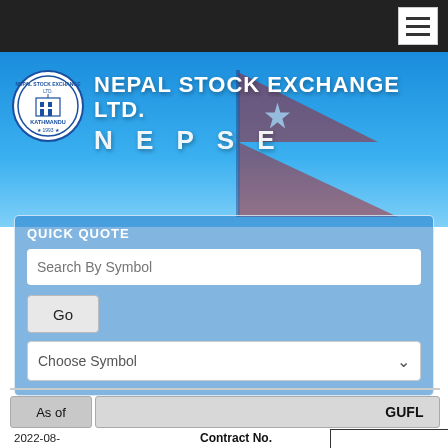[Figure (screenshot): NEPSE website header with logo, Nepal Stock Exchange Ltd. title, NEPSE subtitle, Quick Quote search panel with search by symbol input, Go button, Choose Symbol dropdown, and As of / GUFL row with date and Contract No.]